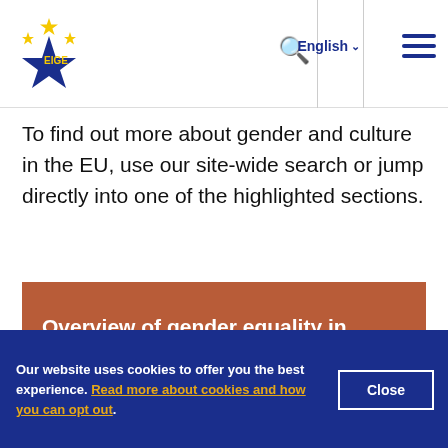EIGE — English
To find out more about gender and culture in the EU, use our site-wide search or jump directly into one of the highlighted sections.
Overview of gender equality in the area →
Gender statistics in the area →
Our website uses cookies to offer you the best experience. Read more about cookies and how you can opt out.